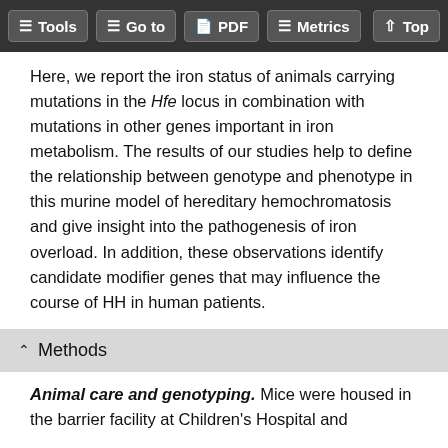Tools | Go to | PDF | Metrics | Top
Here, we report the iron status of animals carrying mutations in the Hfe locus in combination with mutations in other genes important in iron metabolism. The results of our studies help to define the relationship between genotype and phenotype in this murine model of hereditary hemochromatosis and give insight into the pathogenesis of iron overload. In addition, these observations identify candidate modifier genes that may influence the course of HH in human patients.
Methods
Animal care and genotyping. Mice were housed in the barrier facility at Children's Hospital and